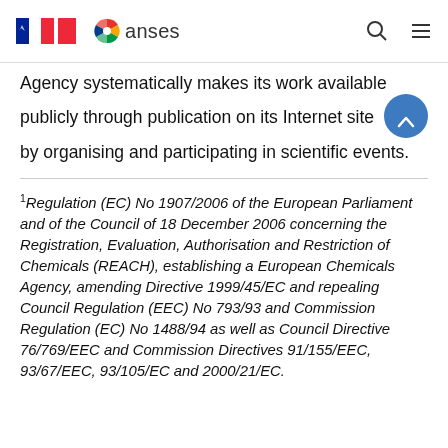ANSES header with French Republic logo, ANSES logo, search icon, menu icon
Agency systematically makes its work available publicly through publication on its Internet site by organising and participating in scientific events.
1 Regulation (EC) No 1907/2006 of the European Parliament and of the Council of 18 December 2006 concerning the Registration, Evaluation, Authorisation and Restriction of Chemicals (REACH), establishing a European Chemicals Agency, amending Directive 1999/45/EC and repealing Council Regulation (EEC) No 793/93 and Commission Regulation (EC) No 1488/94 as well as Council Directive 76/769/EEC and Commission Directives 91/155/EEC, 93/67/EEC, 93/105/EC and 2000/21/EC.